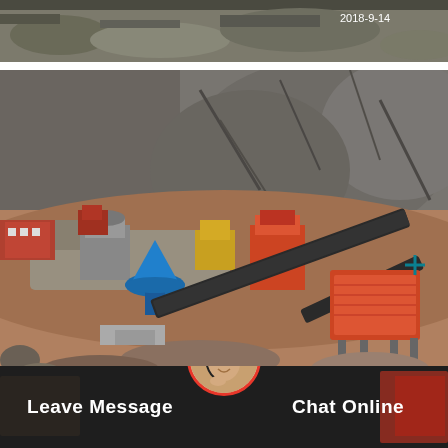[Figure (photo): Partial aerial view of a mining/quarry site with rocky terrain, timestamp 2018-9-14 in top right corner]
[Figure (photo): Aerial view of a quarry/mining operation site with heavy equipment, crushers, conveyors, and processing machinery set against a rocky hillside. A blue circular icon is visible in the bottom right.]
[Figure (photo): Bottom bar with dark background showing a customer service agent photo in a circular frame with red border, 'Leave Message' text on left and 'Chat Online' text on right]